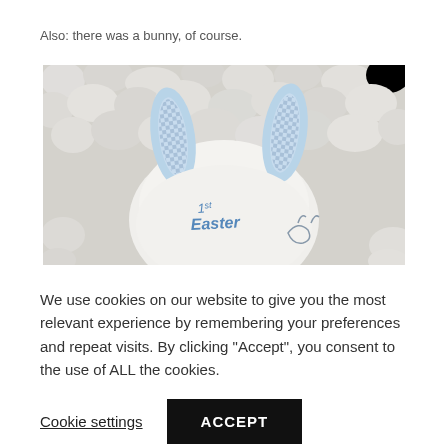Also: there was a bunny, of course.
[Figure (photo): Close-up photo of a white stuffed bunny toy with blue ears lying on a fluffy white textured blanket. The bunny has '1st Easter' written in blue on its back.]
We use cookies on our website to give you the most relevant experience by remembering your preferences and repeat visits. By clicking "Accept", you consent to the use of ALL the cookies.
Cookie settings
ACCEPT